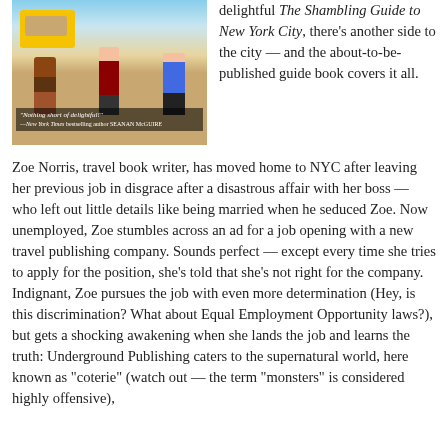[Figure (illustration): Book cover for 'The Shambling Guide to New York City' showing illustrated street scene with figures walking, a yellow taxi, with quote 'Nothing short of delightful!' attributed to New York Times bestselling author SEANAN McGUIRE]
delightful The Shambling Guide to New York City, there's another side to the city — and the about-to-be-published guide book covers it all.
Zoe Norris, travel book writer, has moved home to NYC after leaving her previous job in disgrace after a disastrous affair with her boss — who left out little details like being married when he seduced Zoe. Now unemployed, Zoe stumbles across an ad for a job opening with a new travel publishing company. Sounds perfect — except every time she tries to apply for the position, she's told that she's not right for the company. Indignant, Zoe pursues the job with even more determination (Hey, is this discrimination? What about Equal Employment Opportunity laws?), but gets a shocking awakening when she lands the job and learns the truth: Underground Publishing caters to the supernatural world, here known as "coterie" (watch out — the term "monsters" is considered highly offensive),